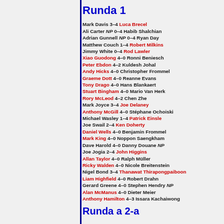Runda 1
Mark Davis 3–4 Luca Brecel
Ali Carter NP 0–4 Habib Shalchian
Adrian Gunnell NP 0–4 Ryan Day
Matthew Couch 1–4 Robert Milkins
Jimmy White 0–4 Rod Lawler
Xiao Guodong 4–0 Ronni Beniesch
Peter Ebdon 4–2 Kuldesh Johal
Andy Hicks 4–0 Christopher Frommel
Graeme Dott 4–0 Reanne Evans
Tony Drago 4–0 Hans Blankaert
Stuart Bingham 4–0 Mario Van Herk
Rory McLeod 4–2 Chen Zhe
Mark Joyce 3–4 Joe Delaney
Anthony McGill 4–0 Stéphane Ochoiski
Michael Wasley 1–4 Patrick Einsle
Joe Swail 2–4 Ken Doherty
Daniel Wells 4–0 Benjamin Frommel
Mark King 4–0 Noppon Saengkham
Dave Harold 4–0 Danny Douane NP
Joe Jogia 2–4 John Higgins
Allan Taylor 4–0 Ralph Müller
Ricky Walden 4–0 Nicole Breitenstein
Nigel Bond 3–4 Thanawat Thirapongpaiboon
Liam Highfield 4–0 Robert Drahn
Gerard Greene 4–0 Stephen Hendry NP
Alan McManus 4–0 Dieter Meier
Anthony Hamilton 4–3 Issara Kachaiwong
Runda a 2-a